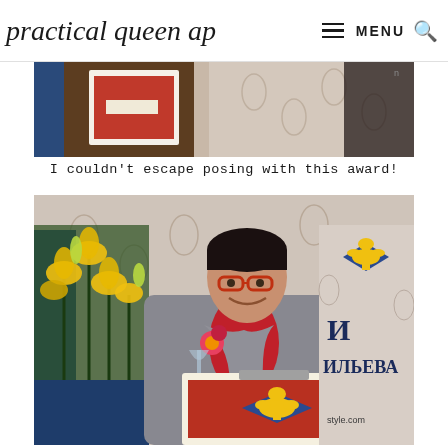practical queen ap  ≡ MENU 🔍
[Figure (photo): Partial photo at top showing a person posing with a framed award featuring a fleur-de-lis emblem on a red background, in an indoor setting]
I couldn't escape posing with this award!
[Figure (photo): Man with glasses wearing a gray blazer with red scarf holding a framed award with a fleur-de-lis emblem on a blue and red background, standing next to yellow lilies, with Cyrillic text backdrop]